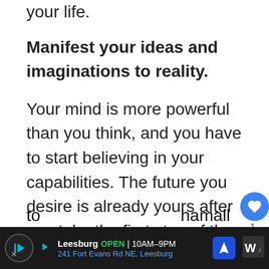your life.
Manifest your ideas and imaginations to reality.
Your mind is more powerful than you think, and you have to start believing in your capabilities. The future you desire is already yours after you take the first step of the process. One way to manifest your dreams faster is to say affirmations every day that will make you feel good about yourself. Once you feel motivated, it will be a lo easier for you to carry out the required work in order to fulfill your goals. Be creative and dare to
[Figure (screenshot): Ad banner at bottom: Leesburg OPEN 10AM-9PM, 241 Fort Evans Rd NE, Leesburg with navigation icon and logo]
hamall th